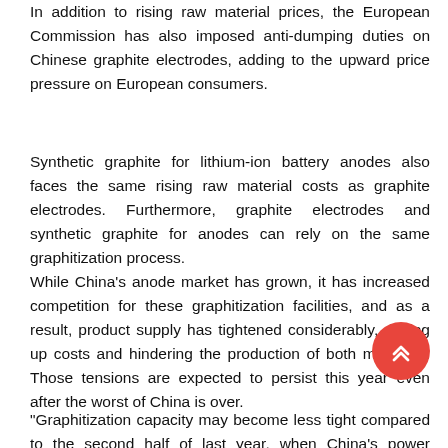In addition to rising raw material prices, the European Commission has also imposed anti-dumping duties on Chinese graphite electrodes, adding to the upward price pressure on European consumers.
Synthetic graphite for lithium-ion battery anodes also faces the same rising raw material costs as graphite electrodes. Furthermore, graphite electrodes and synthetic graphite for anodes can rely on the same graphitization process.
While China's anode market has grown, it has increased competition for these graphitization facilities, and as a result, product supply has tightened considerably, driving up costs and hindering the production of both materials. Those tensions are expected to persist this year even after the worst of China is over.
"Graphitization capacity may become less tight compared to the second half of last year, when China's power crunch